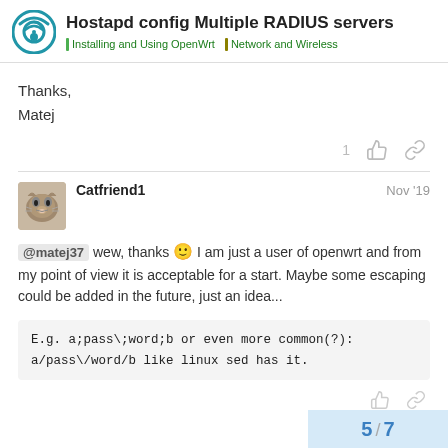Hostapd config Multiple RADIUS servers | Installing and Using OpenWrt | Network and Wireless
Thanks,
Matej
Catfriend1  Nov '19
@matej37 wew, thanks 🙂 I am just a user of openwrt and from my point of view it is acceptable for a start. Maybe some escaping could be added in the future, just an idea...
E.g. a;pass\;word;b or even more common(?):
a/pass\/word/b like linux sed has it.
5 / 7